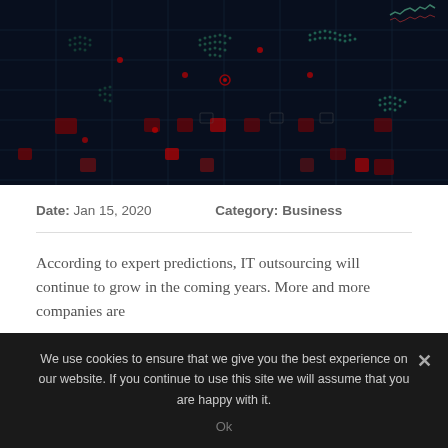[Figure (illustration): Dark digital world map with glowing grid lines, red highlighted regions and data visualization elements on a dark navy background]
Date: Jan 15, 2020   Category: Business
According to expert predictions, IT outsourcing will continue to grow in the coming years. More and more companies are
We use cookies to ensure that we give you the best experience on our website. If you continue to use this site we will assume that you are happy with it.
Ok